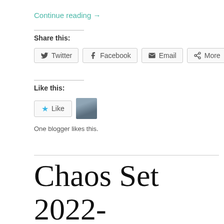Continue reading →
Share this:
[Figure (other): Share buttons for Twitter, Facebook, Email, and More]
Like this:
[Figure (other): Like button with star icon and a blogger avatar thumbnail]
One blogger likes this.
Chaos Set 2022-32